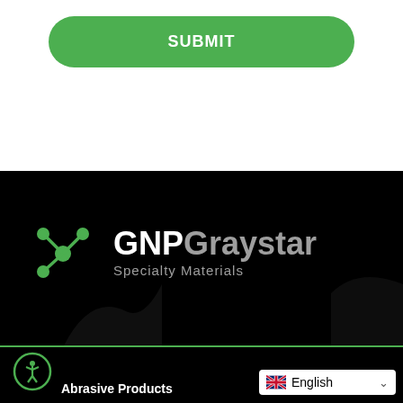SUBMIT
[Figure (logo): GNP Graystar Specialty Materials logo with green molecular/atomic icon on black background]
[Figure (infographic): Accessibility icon (person in circle) and language selector showing English with UK flag]
Abrasive Products